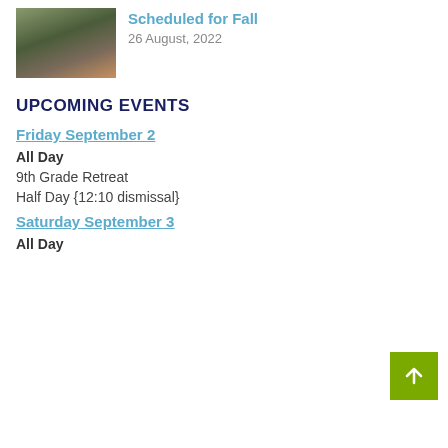[Figure (photo): Thumbnail photo showing an outdoor scene with trees and warm light, appears to be a nature/camp setting]
Scheduled for Fall
26 August, 2022
UPCOMING EVENTS
Friday September 2
All Day
9th Grade Retreat
Half Day {12:10 dismissal}
Saturday September 3
All Day